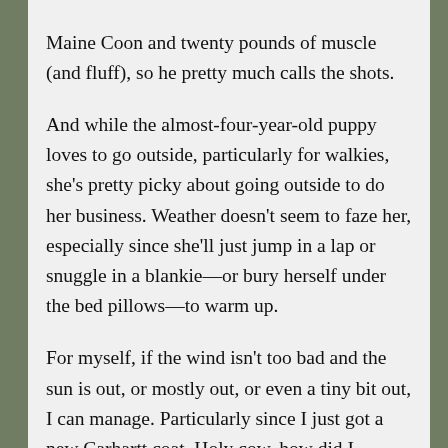Maine Coon and twenty pounds of muscle (and fluff), so he pretty much calls the shots.

And while the almost-four-year-old puppy loves to go outside, particularly for walkies, she's pretty picky about going outside to do her business. Weather doesn't seem to faze her, especially since she'll just jump in a lap or snuggle in a blankie—or bury herself under the bed pillows—to warm up.

For myself, if the wind isn't too bad and the sun is out, or mostly out, or even a tiny bit out, I can manage. Particularly since I just got a new Carhartt coat. Holy cow, how did I manage without it? That plus gloves and earmuffs, and I'm set. For windy days, or too much time on the ATV,